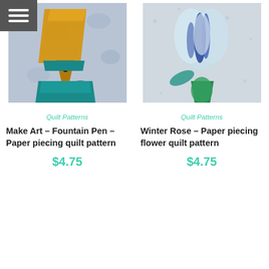[Figure (illustration): Hamburger menu icon — three white horizontal lines on a dark grey/charcoal square background, top-left corner]
[Figure (photo): Quilt block photo showing a fountain pen design in orange/gold and teal on a grey floral background fabric]
Quilt Patterns
Make Art – Fountain Pen – Paper piecing quilt pattern
$4.75
[Figure (photo): Quilt block photo showing a winter rose / flower design in blue, white and green on a light speckled background fabric]
Quilt Patterns
Winter Rose – Paper piecing flower quilt pattern
$4.75